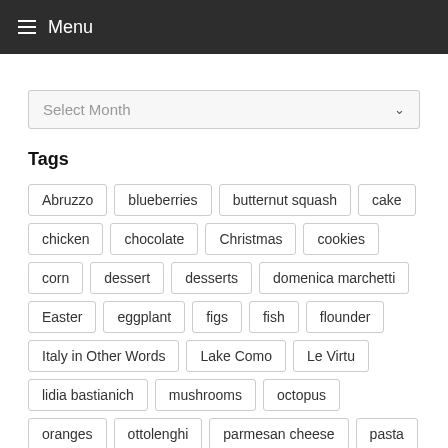≡ Menu
Select Month
Tags
Abruzzo
blueberries
butternut squash
cake
chicken
chocolate
Christmas
cookies
corn
dessert
desserts
domenica marchetti
Easter
eggplant
figs
fish
flounder
Italy in Other Words
Lake Como
Le Virtu
lidia bastianich
mushrooms
octopus
oranges
ottolenghi
parmesan cheese
pasta
pistachios